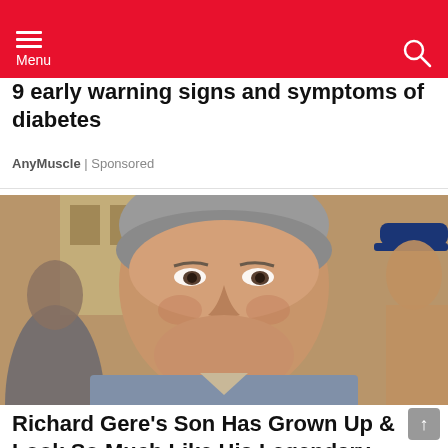Menu
9 early warning signs and symptoms of diabetes
AnyMuscle | Sponsored
[Figure (photo): Photo of Richard Gere smiling, grey hair, in a crowd]
Richard Gere's Son Has Grown Up & Look So Much Like His Legendary Father